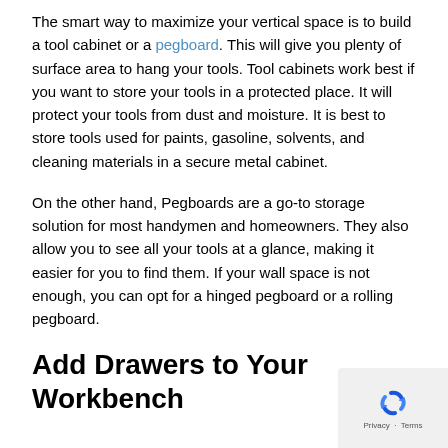The smart way to maximize your vertical space is to build a tool cabinet or a pegboard. This will give you plenty of surface area to hang your tools. Tool cabinets work best if you want to store your tools in a protected place. It will protect your tools from dust and moisture. It is best to store tools used for paints, gasoline, solvents, and cleaning materials in a secure metal cabinet.
On the other hand, Pegboards are a go-to storage solution for most handymen and homeowners. They also allow you to see all your tools at a glance, making it easier for you to find them. If your wall space is not enough, you can opt for a hinged pegboard or a rolling pegboard.
Add Drawers to Your Workbench
[Figure (other): Privacy/reCAPTCHA badge overlay in bottom-right corner with Google reCAPTCHA logo and Privacy · Terms text]